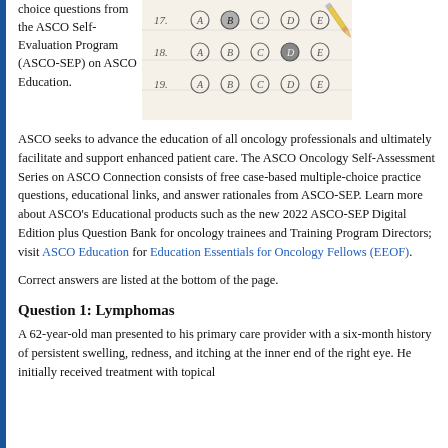choice questions from the ASCO Self-Evaluation Program (ASCO-SEP) on ASCO Education.
[Figure (photo): Photo of a multiple choice answer sheet with bubbles for options A through E for questions 17, 18, 19, with a pencil marking option B on question 17.]
ASCO seeks to advance the education of all oncology professionals and ultimately facilitate and support enhanced patient care. The ASCO Oncology Self-Assessment Series on ASCO Connection consists of free case-based multiple-choice practice questions, educational links, and answer rationales from ASCO-SEP. Learn more about ASCO's Educational products such as the new 2022 ASCO-SEP Digital Edition plus Question Bank for oncology trainees and Training Program Directors; visit ASCO Education for Education Essentials for Oncology Fellows (EEOF).
Correct answers are listed at the bottom of the page.
Question 1: Lymphomas
A 62-year-old man presented to his primary care provider with a six-month history of persistent swelling, redness, and itching at the inner end of the right eye. He initially received treatment with topical